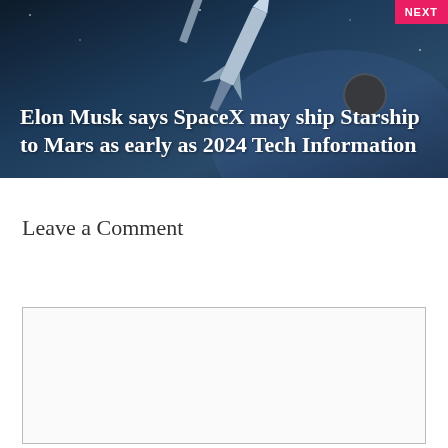[Figure (photo): Hero image of a rocket (SpaceX Starship) launching against a dark blue sky/space background with Earth visible. A pink/red badge in top-right corner reads 'NEXT'.]
Elon Musk says SpaceX may ship Starship to Mars as early as 2024 Tech Information
Leave a Comment